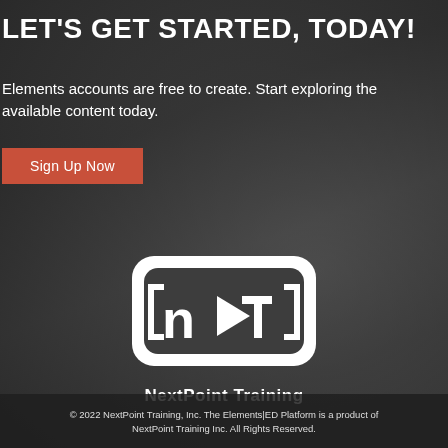LET'S GET STARTED, TODAY!
Elements accounts are free to create. Start exploring the available content today.
Sign Up Now
[Figure (logo): NextPoint Training logo: white rounded rectangle containing 'npt' letters with a play button triangle, and 'NextPoint Training' text below in white bold font]
© 2022 NextPoint Training, Inc. The Elements|ED Platform is a product of NextPoint Training Inc. All Rights Reserved.